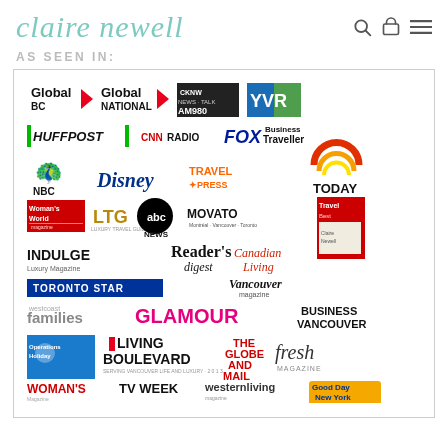claire newell
AS SEEN IN:
[Figure (infographic): Collage of media logos including Global BC, Global National, CKNW AM980, YVR, HuffPost, CNN Radio, FOX, Business Traveller, NBC, Disney, Travel Press, TODAY, Woman's World, LTG, abc NEWS, MOVATO, INDULGE Luxury Magazine, Reader's Digest, Canadian Living, Toronto Star, Vancouver magazine, families, GLAMOUR, BUSINESS VANCOUVER, Operations Holiday, Living Boulevard, THE GLOBE AND MAIL, fresh magazine, WOMAN'S, TV WEEK, westernliving, Good Day New York]